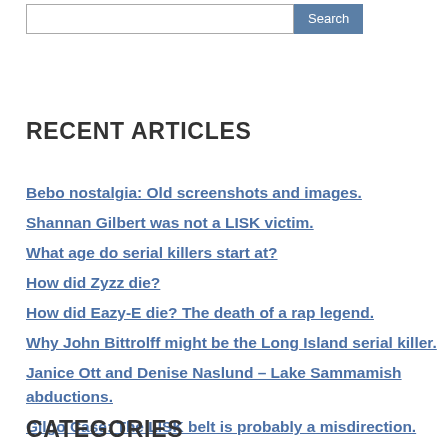[Figure (screenshot): Search bar with text input and Search button]
RECENT ARTICLES
Bebo nostalgia: Old screenshots and images.
Shannan Gilbert was not a LISK victim.
What age do serial killers start at?
How did Zyzz die?
How did Eazy-E die? The death of a rap legend.
Why John Bittrolff might be the Long Island serial killer.
Janice Ott and Denise Naslund – Lake Sammamish abductions.
Gilgo Case: The LISK belt is probably a misdirection.
CATEGORIES